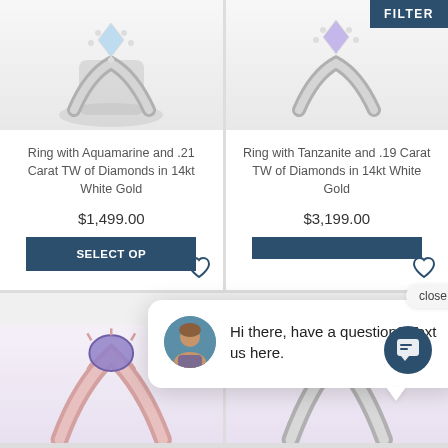[Figure (screenshot): E-commerce jewelry product listing page showing 4 ring products in a 2-column grid with a chat popup overlay and FILTER button]
Ring with Aquamarine and .21 Carat TW of Diamonds in 14kt White Gold
$1,499.00
SELECT OPTIONS
Ring with Tanzanite and .19 Carat TW of Diamonds in 14kt White Gold
$3,199.00
FILTER
close
Hi there, have a question? Text us here.